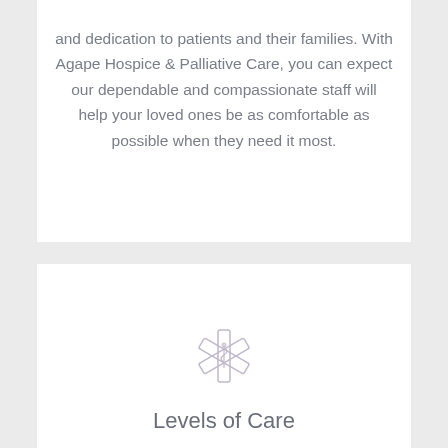and dedication to patients and their families. With Agape Hospice & Palliative Care, you can expect our dependable and compassionate staff will help your loved ones be as comfortable as possible when they need it most.
[Figure (illustration): Star of Life medical symbol icon, light purple/lavender outline style]
Levels of Care